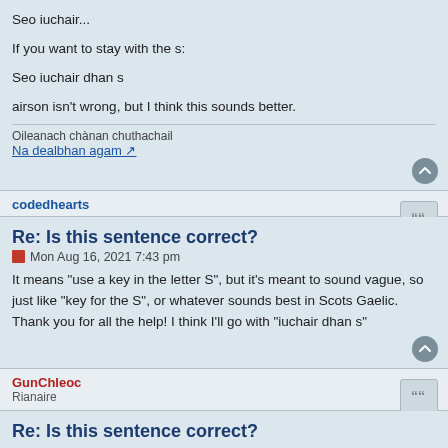Seo iuchair...
If you want to stay with the s:
Seo iuchair dhan s
airson isn't wrong, but I think this sounds better.
Oileanach chànan chuthachail
Na dealbhan agam
codedhearts
Re: Is this sentence correct?
Mon Aug 16, 2021 7:43 pm
It means "use a key in the letter S", but it's meant to sound vague, so just like "key for the S", or whatever sounds best in Scots Gaelic.
Thank you for all the help! I think I'll go with "iuchair dhan s"
GunChleoc
Rianaire
Re: Is this sentence correct?